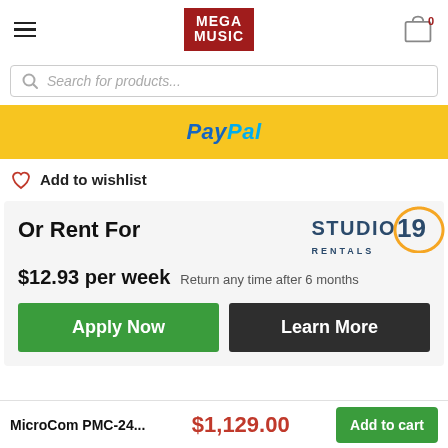Mega Music - header with hamburger menu, logo, and cart (0 items)
Search for products...
[Figure (logo): PayPal payment button - yellow background with PayPal logo]
Add to wishlist
Or Rent For
[Figure (logo): Studio 19 Rentals logo with orange circular ring]
$12.93 per week  Return any time after 6 months
Apply Now
Learn More
MicroCom PMC-24...  $1,129.00  Add to cart